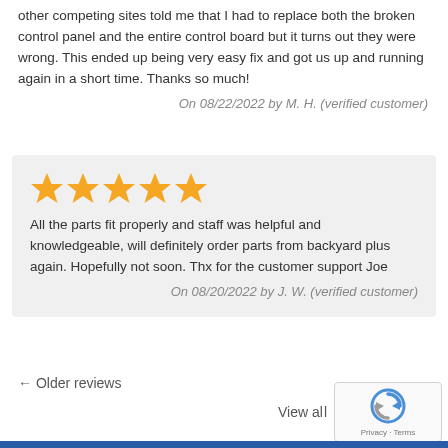other competing sites told me that I had to replace both the broken control panel and the entire control board but it turns out they were wrong. This ended up being very easy fix and got us up and running again in a short time. Thanks so much!
On 08/22/2022 by M. H. (verified customer)
[Figure (other): Five gold star rating icons]
All the parts fit properly and staff was helpful and knowledgeable, will definitely order parts from backyard plus again. Hopefully not soon. Thx for the customer support Joe
On 08/20/2022 by J. W. (verified customer)
← Older reviews
View all...
[Figure (other): reCAPTCHA badge with Privacy and Terms links]